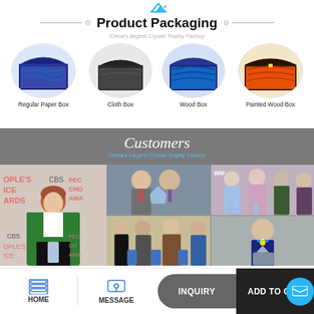Product Packaging
China's largest Crystal Trophy Factory
[Figure (photo): Regular Paper Box - blue satin interior gift box, open]
Regular Paper Box
[Figure (photo): Cloth Box - dark grey fabric gift box, open]
Cloth Box
[Figure (photo): Wood Box - blue interior wooden box, open]
Wood Box
[Figure (photo): Painted Wood Box - orange interior dark wood box, open]
Painted Wood Box
Customers
China's Largest Crystal Trophy Factory
[Figure (photo): Collage of customer photos showing people receiving crystal trophies at various award ceremonies including People's Choice Awards and WIF events]
HOME | MESSAGE | INQUIRY | ADD TO CART